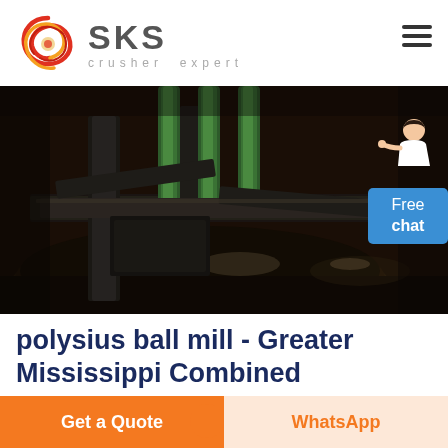[Figure (logo): SKS crusher expert logo with stylized red swirl emblem and grey SKS text with tagline 'crusher expert']
[Figure (photo): Close-up photograph of a ball mill machinery showing heavy metal grinding components, green cylindrical pillars, and a circular dark metal disc from above]
polysius ball mill - Greater Mississippi Combined
polysius ball mill_ Raw Mill - LV TECHNOLOGY PUBLIC
Get a Quote
WhatsApp